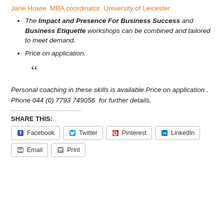Jane Howie  MBA coordinator  University of Leicester
The Impact and Presence For Business Success and Business Etiquette workshops can be combined and tailored to meet demand.
Price on application.
“
Personal coaching in these skills is available Price on application . Phone 044 (0) 7793 749056  for further details.
SHARE THIS:
Facebook  Twitter  Pinterest  LinkedIn  Email  Print